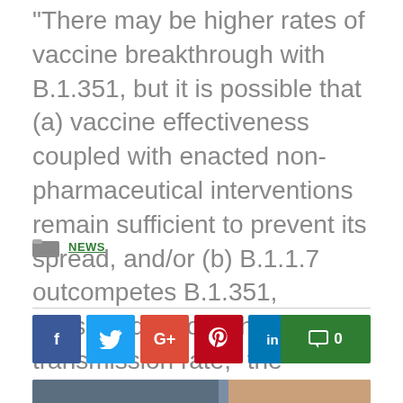“There may be higher rates of vaccine breakthrough with B.1.351, but it is possible that (a) vaccine effectiveness coupled with enacted non-pharmaceutical interventions remain sufficient to prevent its spread, and/or (b) B.1.1.7 outcompetes B.1.351, possibly due to its high transmission rate,” the researchers concluded.
NEWS
[Figure (other): Social media share buttons: Facebook (blue), Twitter (light blue), Google+ (red-orange), Pinterest (dark red), LinkedIn (blue). A green comment button showing 0 comments on the right.]
[Figure (photo): Partial photo at bottom of page showing people working, partially cropped.]